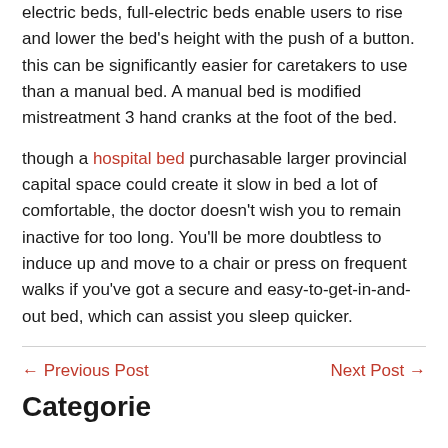electric beds, full-electric beds enable users to rise and lower the bed's height with the push of a button. this can be significantly easier for caretakers to use than a manual bed. A manual bed is modified mistreatment 3 hand cranks at the foot of the bed.
though a hospital bed purchasable larger provincial capital space could create it slow in bed a lot of comfortable, the doctor doesn't wish you to remain inactive for too long. You'll be more doubtless to induce up and move to a chair or press on frequent walks if you've got a secure and easy-to-get-in-and-out bed, which can assist you sleep quicker.
← Previous Post    Next Post →
Categories